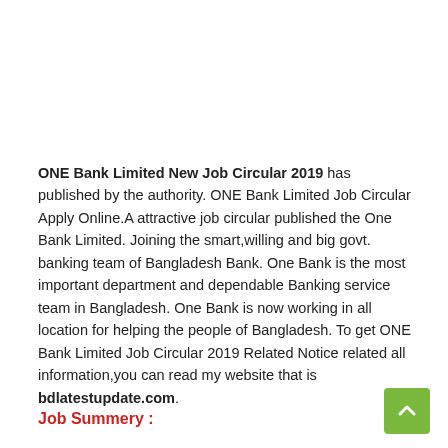ONE Bank Limited New Job Circular 2019 has published by the authority. ONE Bank Limited Job Circular Apply Online.A attractive job circular published the One Bank Limited. Joining the smart,willing and big govt. banking team of Bangladesh Bank. One Bank is the most important department and dependable Banking service team in Bangladesh. One Bank is now working in all location for helping the people of Bangladesh. To get ONE Bank Limited Job Circular 2019 Related Notice related all information,you can read my website that is bdlatestupdate.com.
Job Summery :